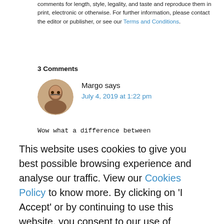comments for length, style, legality, and taste and reproduce them in print, electronic or otherwise. For further information, please contact the editor or publisher, or see our Terms and Conditions.
3 Comments
Margo says
July 4, 2019 at 1:22 pm
Wow what a difference between
This website uses cookies to give you best possible browsing experience and analyse our traffic. View our Cookies Policy to know more. By clicking on 'I Accept' or by continuing to use this website, you consent to our use of cookies.
Learn more
I ACCEPT